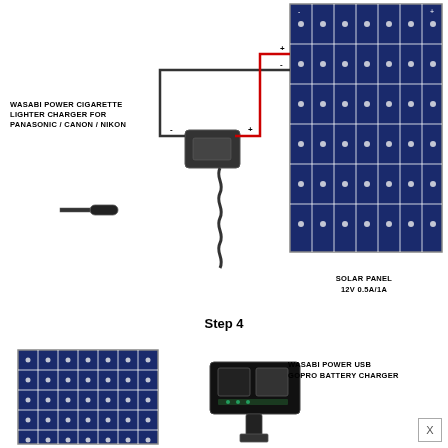[Figure (schematic): Diagram showing a Wasabi Power Cigarette Lighter Charger connected via wires (negative and positive terminals) to a Solar Panel 12V 0.5A/1A. The charger has a coiled cable and car lighter plug.]
SOLAR PANEL
12V 0.5A/1A
WASABI POWER CIGARETTE LIGHTER CHARGER FOR PANASONIC / CANON / NIKON
Step 4
[Figure (schematic): Bottom diagram showing a Solar Panel on the left connected to a Wasabi Power USB GoPro Battery Charger on the right.]
WASABI POWER USB
GOPRO BATTERY CHARGER